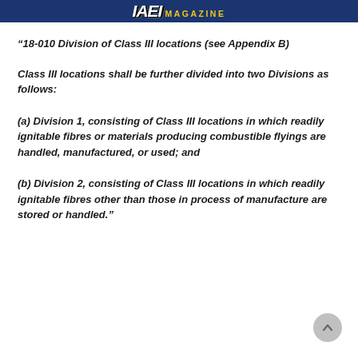IAEI MAGAZINE
‘18-010 Division of Class III locations (see Appendix B)
Class III locations shall be further divided into two Divisions as follows:
(a) Division 1, consisting of Class III locations in which readily ignitable fibres or materials producing combustible flyings are handled, manufactured, or used; and
(b) Division 2, consisting of Class III locations in which readily ignitable fibres other than those in process of manufacture are stored or handled.”